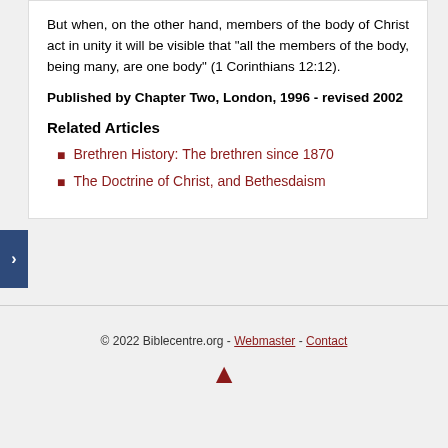But when, on the other hand, members of the body of Christ act in unity it will be visible that "all the members of the body, being many, are one body" (1 Corinthians 12:12).
Published by Chapter Two, London, 1996 - revised 2002
Related Articles
Brethren History: The brethren since 1870
The Doctrine of Christ, and Bethesdaism
© 2022 Biblecentre.org - Webmaster - Contact